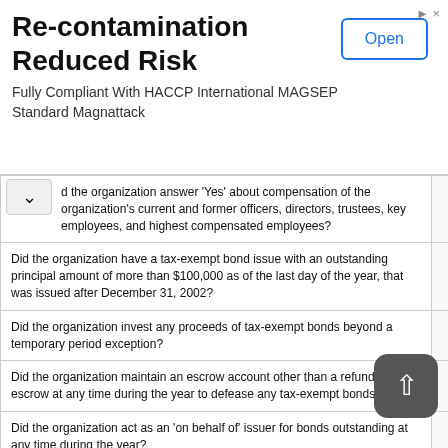[Figure (other): Advertisement banner: Re-contamination Reduced Risk. Fully Compliant With HACCP International MAGSEP Standard Magnattack. Open button.]
| Question |  | Answer |
| --- | --- | --- |
| d the organization answer 'Yes' about compensation of the organization's current and former officers, directors, trustees, key employees, and highest compensated employees? |  | No |
| Did the organization have a tax-exempt bond issue with an outstanding principal amount of more than $100,000 as of the last day of the year, that was issued after December 31, 2002? |  | No |
| Did the organization invest any proceeds of tax-exempt bonds beyond a temporary period exception? |  | No |
| Did the organization maintain an escrow account other than a refunding escrow at any time during the year to defease any tax-exempt bonds? |  | No |
| Did the organization act as an 'on behalf of' issuer for bonds outstanding at any time during the year? |  | No |
| Did the organization engage in an excess benefit transaction with a disqualified person during the year? |  | No |
| Is the organization aware that it engaged in an excess benefit transaction with a disqualified person in a prior year, and that the |  | No |